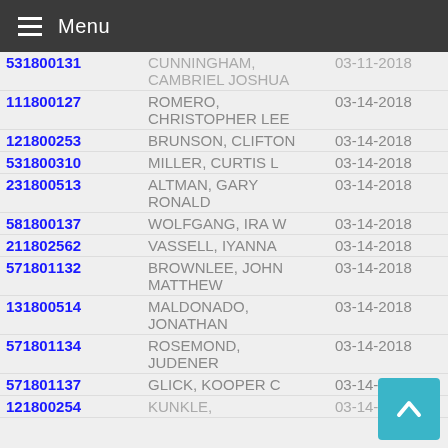Menu
531800131 | CUNNINGHAM, CAMBRIEL JOSHUA | 03-11-2018
111800127 | ROMERO, CHRISTOPHER LEE | 03-14-2018
121800253 | BRUNSON, CLIFTON | 03-14-2018
531800310 | MILLER, CURTIS L | 03-14-2018
231800513 | ALTMAN, GARY RONALD | 03-14-2018
581800137 | WOLFGANG, IRA W | 03-14-2018
211802562 | VASSELL, IYANNA | 03-14-2018
571801132 | BROWNLEE, JOHN MATTHEW | 03-14-2018
131800514 | MALDONADO, JONATHAN | 03-14-2018
571801134 | ROSEMOND, JUDENER | 03-14-2018
571801137 | GLICK, KOOPER C | 03-14-2018
121800254 | KUNKLE, ... | 03-14-2018